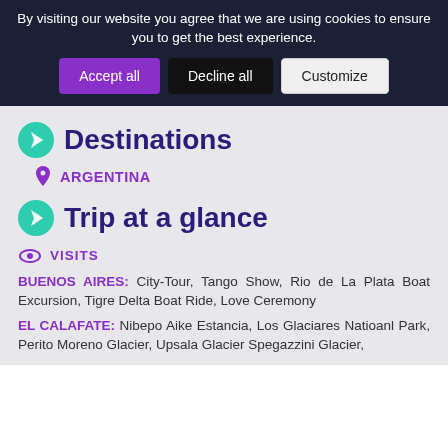By visiting our website you agree that we are using cookies to ensure you to get the best experience.
Accept all | Decline all | Customize
Destinations
ARGENTINA
Trip at a glance
VISITS
BUENOS AIRES: City-Tour, Tango Show, Rio de La Plata Boat Excursion, Tigre Delta Boat Ride, Love Ceremony
EL CALAFATE: Nibepo Aike Estancia, Los Glaciares Natioanl Park, Perito Moreno Glacier, Upsala Glacier Spegazzini Glacier,